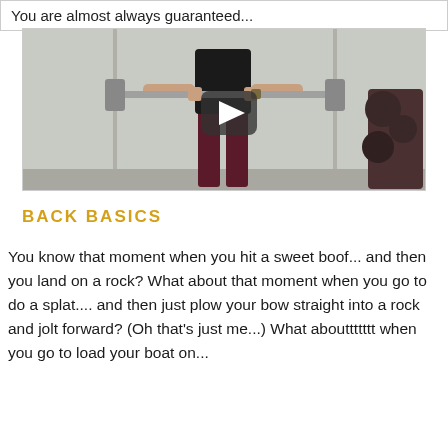You are almost always guaranteed...
[Figure (photo): A person holding a barbell in a gym, shown from behind/side. A video play button overlay is visible in the center.]
BACK BASICS
You know that moment when you hit a sweet boof... and then you land on a rock? What about that moment when you go to do a splat.... and then just plow your bow straight into a rock and jolt forward? (Oh that's just me...) What abouttttttt when you go to load your boat on...